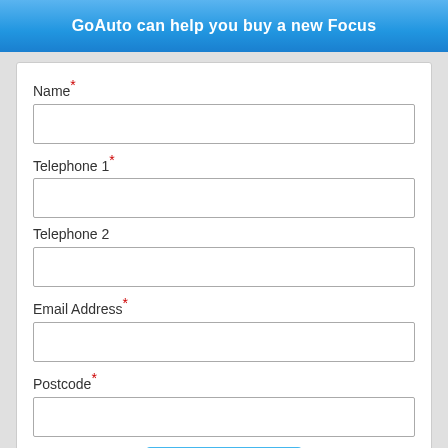GoAuto can help you buy a new Focus
Name*
Telephone 1*
Telephone 2
Email Address*
Postcode*
Enquire now